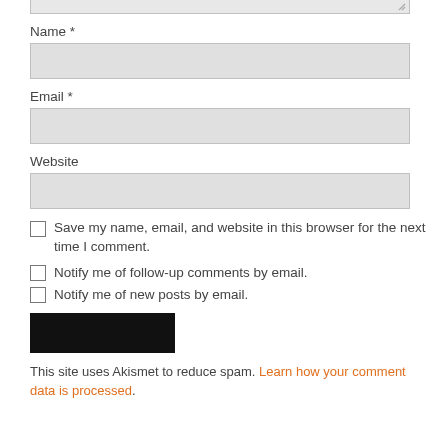[Figure (screenshot): Bottom edge of a textarea input field (grey background, resize handle at bottom-right)]
Name *
[Figure (screenshot): Name text input field (grey background, empty)]
Email *
[Figure (screenshot): Email text input field (grey background, empty)]
Website
[Figure (screenshot): Website text input field (grey background, empty)]
Save my name, email, and website in this browser for the next time I comment.
Notify me of follow-up comments by email.
Notify me of new posts by email.
[Figure (screenshot): Black submit button (Post Comment or similar)]
This site uses Akismet to reduce spam. Learn how your comment data is processed.